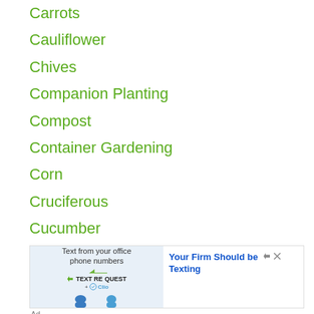Carrots
Cauliflower
Chives
Companion Planting
Compost
Container Gardening
Corn
Cruciferous
Cucumber
Dill
[Figure (screenshot): Advertisement for Text Request + Clio texting service. Shows 'Text from your office phone numbers' with arrow graphics and logos. Headline reads 'Your Firm Should be Texting'. Labeled 'Ad' below.]